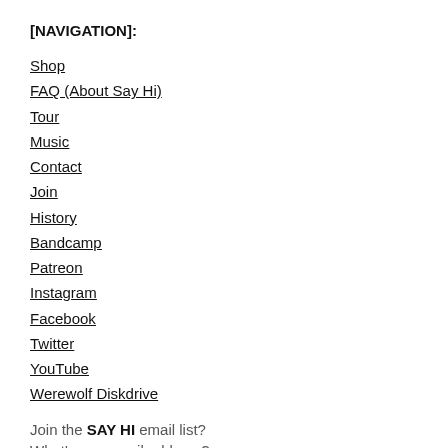[NAVIGATION]:
Shop
FAQ (About Say Hi)
Tour
Music
Contact
Join
History
Bandcamp
Patreon
Instagram
Facebook
Twitter
YouTube
Werewolf Diskdrive
Join the SAY HI email list?
What's you email address?: